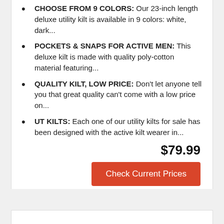CHOOSE FROM 9 COLORS: Our 23-inch length deluxe utility kilt is available in 9 colors: white, dark...
POCKETS & SNAPS FOR ACTIVE MEN: This deluxe kilt is made with quality poly-cotton material featuring...
QUALITY KILT, LOW PRICE: Don't let anyone tell you that great quality can't come with a low price on...
UT KILTS: Each one of our utility kilts for sale has been designed with the active kilt wearer in...
$79.99
Check Current Prices
BESTSELLER NO. 7